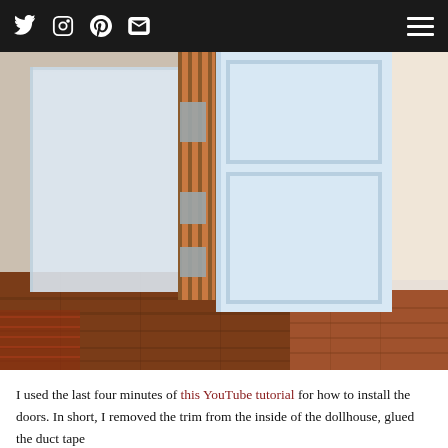Navigation bar with Twitter, Instagram, Pinterest, Email icons and hamburger menu
[Figure (photo): Interior dollhouse scene showing a white panel door open against a brown wooden door frame with duct tape visible on the frame, hardwood floor in reddish-brown color, white wall and small rug in corner]
I used the last four minutes of this YouTube tutorial for how to install the doors. In short, I removed the trim from the inside of the dollhouse, glued the duct tape